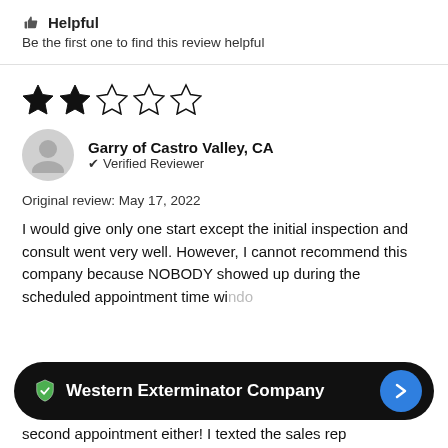Helpful
Be the first one to find this review helpful
[Figure (other): 2 filled stars and 3 empty stars rating (2 out of 5)]
Garry of Castro Valley, CA
✓ Verified Reviewer
Original review: May 17, 2022
I would give only one start except the initial inspection and consult went very well. However, I cannot recommend this company because NOBODY showed up during the scheduled appointment time wi...
[Figure (logo): Western Exterminator Company dark pill-shaped banner with green shield logo and blue arrow button]
second appointment either! I texted the sales rep